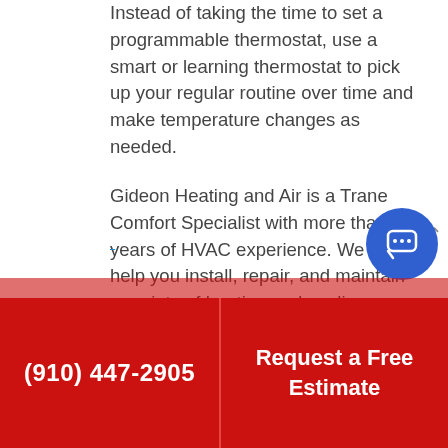Instead of taking the time to set a programmable thermostat, use a smart or learning thermostat to pick up your regular routine over time and make temperature changes as needed.
Gideon Heating and Air is a Trane Comfort Specialist with more than 50 years of HVAC experience. We can help you install, repair, and maintain a variety of heating and cooling equipment for your home or business, including ductless systems. Call us for fast, effective solutions from one of our friendly technicians.
(910) 447-2905 | Request a Free Estimate